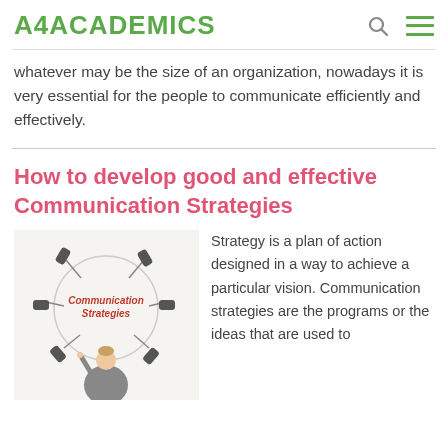A4ACADEMICS
whatever may be the size of an organization, nowadays it is very essential for the people to communicate efficiently and effectively.
How to develop good and effective Communication Strategies
[Figure (illustration): Illustration showing multiple hands holding telephone handsets arranged in a circle around the text 'Communication Strategies', with a businesswoman pointing upward in the foreground.]
Strategy is a plan of action designed in a way to achieve a particular vision. Communication strategies are the programs or the ideas that are used to